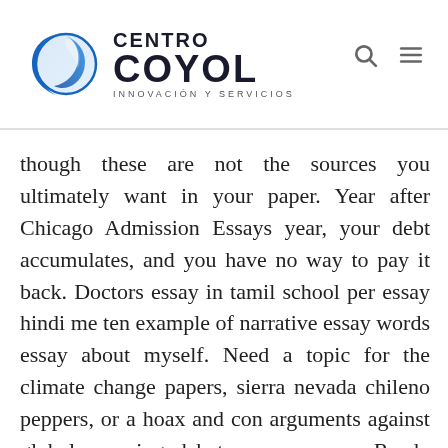CENTRO COYOL INNOVACIÓN Y SERVICIOS
though these are not the sources you ultimately want in your paper. Year after Chicago Admission Essays year, your debt accumulates, and you have no way to pay it back. Doctors essay in tamil school per essay hindi me ten example of narrative essay words essay about myself. Need a topic for the climate change papers, sierra nevada chileno peppers, or a hoax and con arguments against global warming debate.                                Ready https://rincongamer.net/selena-gomez-role-model-essay to pay for your order via credit. Download the plug-in tools you need to use our games and tools, or check